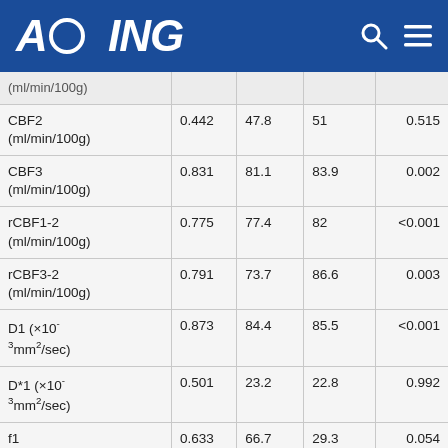AGING
|  |  |  |  |  |
| --- | --- | --- | --- | --- |
| (ml/min/100g) |  |  |  |  |
| CBF2 (ml/min/100g) | 0.442 | 47.8 | 51 | 0.515 |
| CBF3 (ml/min/100g) | 0.831 | 81.1 | 83.9 | 0.002 |
| rCBF1-2 (ml/min/100g) | 0.775 | 77.4 | 82 | <0.001 |
| rCBF3-2 (ml/min/100g) | 0.791 | 73.7 | 86.6 | 0.003 |
| D1 (×10⁻³mm²/sec) | 0.873 | 84.4 | 85.5 | <0.001 |
| D*1 (×10⁻³mm²/sec) | 0.501 | 23.2 | 22.8 | 0.992 |
| f1 | 0.633 | 66.7 | 29.3 | 0.054 |
| D2 (×10⁻ | 0.419 | 96.3 | 86.3 | 0.242 |